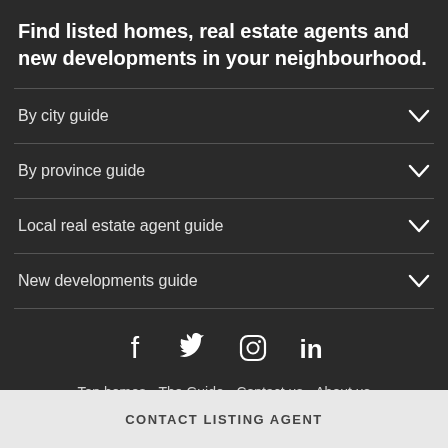Find listed homes, real estate agents and new developments in your neighbourhood.
By city guide
By province guide
Local real estate agent guide
New developments guide
[Figure (infographic): Social media icons row: Facebook, Twitter, Instagram, LinkedIn]
Top homes • The Guide • Contact us • About us
Advertise with us • Careers • Sitemap • Agent log in
CONTACT LISTING AGENT